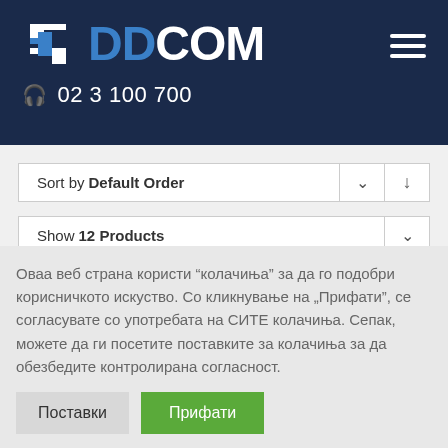DDCOM — 02 3 100 700
Sort by Default Order
Show 12 Products
Оваа веб страна користи "колачиња" за да го подобри корисничкото искуство. Со кликнување на „Прифати", се согласувате со употребата на СИТЕ колачиња. Сепак, можете да ги посетите поставките за колачиња за да обезбедите контролирана согласност.
Поставки
Прифати